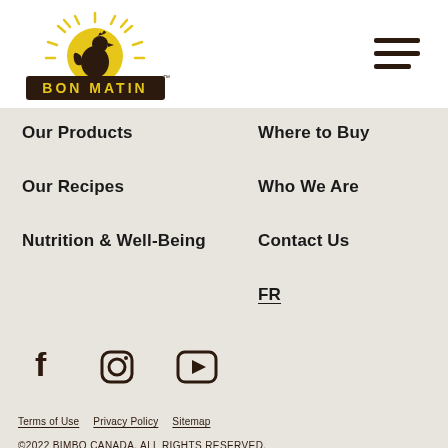[Figure (logo): Bon Matin logo: rooster silhouette on yellow sun with rays, brown rectangular banner reading BON MATIN with trademark symbol]
[Figure (other): Hamburger menu icon: three horizontal dark brown lines]
Our Products
Where to Buy
Our Recipes
Who We Are
Nutrition & Well-Being
Contact Us
FR
[Figure (other): Social media icons: Facebook (f), Instagram (camera circle), YouTube (play button triangle in rounded rectangle)]
Terms of Use   Privacy Policy   Sitemap
©2022 BIMBO CANADA. ALL RIGHTS RESERVED.